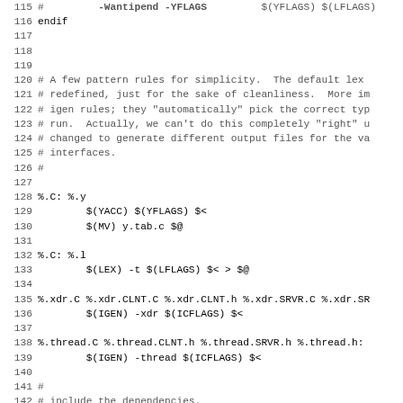Code listing lines 115-147, Makefile with pattern rules, yacc/lex rules, xdr/thread rules, and include statements
116 endif
117
118
119
120 # A few pattern rules for simplicity.  The default lex
121 # redefined, just for the sake of cleanliness.  More im
122 # igen rules; they "automatically" pick the correct typ
123 # run.  Actually, we can't do this completely "right" u
124 # changed to generate different output files for the va
125 # interfaces.
126 #
127
128 %.C: %.y
129         $(YACC) $(YFLAGS) $<
130         $(MV) y.tab.c $@
131
132 %.C: %.l
133         $(LEX) -t $(LFLAGS) $< > $@
134
135 %.xdr.C %.xdr.CLNT.C %.xdr.CLNT.h %.xdr.SRVR.C %.xdr.SR
136         $(IGEN) -xdr $(ICFLAGS) $<
137
138 %.thread.C %.thread.CLNT.h %.thread.SRVR.h %.thread.h:
139         $(IGEN) -thread $(ICFLAGS) $<
140
141 #
142 # include the dependencies.
143 #
144 include DEPENDS
145
146 # platform-specific options
147 include $(TO_CORE)/make.platform.tmpl